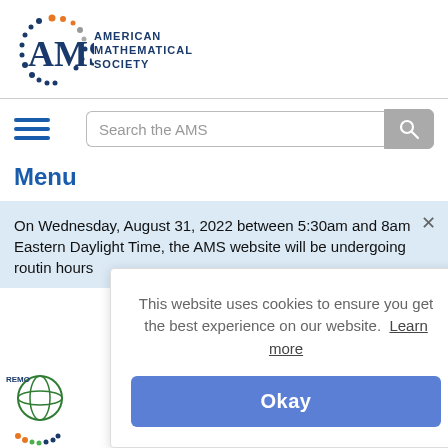[Figure (logo): American Mathematical Society logo with dot-arc graphic and AMS lettering]
[Figure (screenshot): Search bar with placeholder 'Search the AMS' and gray search button]
Menu
On Wednesday, August 31, 2022 between 5:30am and 8am Eastern Daylight Time, the AMS website will be undergoing routin hours
This website uses cookies to ensure you get the best experience on our website.  Learn more
Okay